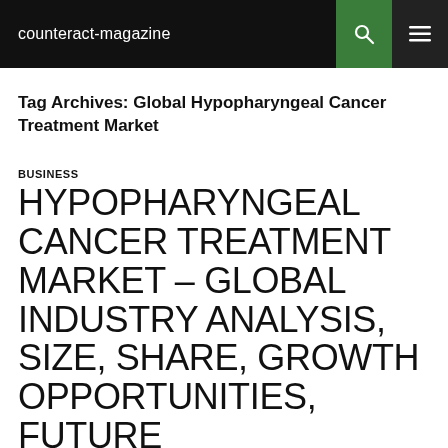counteract-magazine
Tag Archives: Global Hypopharyngeal Cancer Treatment Market
BUSINESS
HYPOPHARYNGEAL CANCER TREATMENT MARKET – GLOBAL INDUSTRY ANALYSIS, SIZE, SHARE, GROWTH OPPORTUNITIES, FUTURE